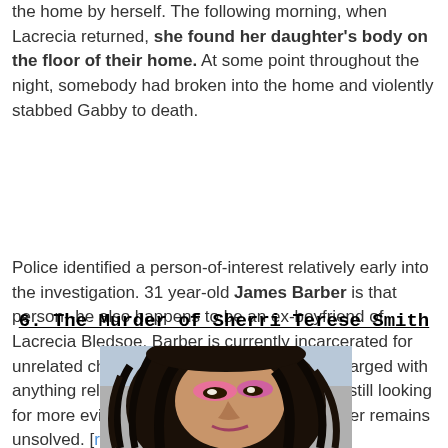the home by herself. The following morning, when Lacrecia returned, she found her daughter's body on the floor of their home. At some point throughout the night, somebody had broken into the home and violently stabbed Gabby to death.
Police identified a person-of-interest relatively early into the investigation. 31 year-old James Barber is that person--he also happens to be an ex-boyfriend of Lacrecia Bledsoe. Barber is currently incarcerated for unrelated charges and he has never been charged with anything related to Gabby's case. Police are still looking for more evidence in the case. Gabby's murder remains unsolved. [read more]
6. The Murder of Sherri Terese Smith
[Figure (photo): Photo of Sherri Terese Smith, a woman with long dark curly hair and colorful eye makeup, partial view of face]